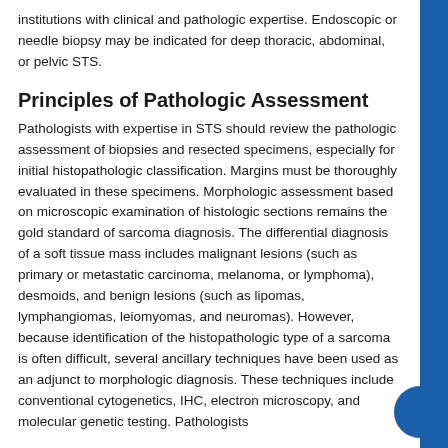institutions with clinical and pathologic expertise. Endoscopic or needle biopsy may be indicated for deep thoracic, abdominal, or pelvic STS.
Principles of Pathologic Assessment
Pathologists with expertise in STS should review the pathologic assessment of biopsies and resected specimens, especially for initial histopathologic classification. Margins must be thoroughly evaluated in these specimens. Morphologic assessment based on microscopic examination of histologic sections remains the gold standard of sarcoma diagnosis. The differential diagnosis of a soft tissue mass includes malignant lesions (such as primary or metastatic carcinoma, melanoma, or lymphoma), desmoids, and benign lesions (such as lipomas, lymphangiomas, leiomyomas, and neuromas). However, because identification of the histopathologic type of a sarcoma is often difficult, several ancillary techniques have been used as an adjunct to morphologic diagnosis. These techniques include conventional cytogenetics, IHC, electron microscopy, and molecular genetic testing. Pathologists